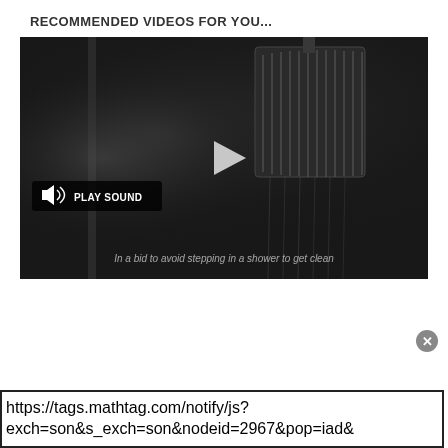RECOMMENDED VIDEOS FOR YOU...
[Figure (screenshot): Video thumbnail of a shower head with steam, showing a play button in the center and a 'PLAY SOUND' button in the lower left. Caption reads: 'In a bid to avoid stepping in a shower to get clean']
https://tags.mathtag.com/notify/js?exch=son&s_exch=son&nodeid=2967&pop=iad&